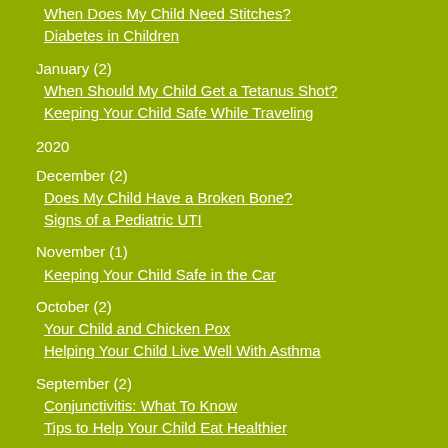When Does My Child Need Stitches?
Diabetes in Children
January (2)
When Should My Child Get a Tetanus Shot?
Keeping Your Child Safe While Traveling
2020
December (2)
Does My Child Have a Broken Bone?
Signs of a Pediatric UTI
November (1)
Keeping Your Child Safe in the Car
October (2)
Your Child and Chicken Pox
Helping Your Child Live Well With Asthma
September (2)
Conjunctivitis: What To Know
Tips to Help Your Child Eat Healthier
August (2)
The Importance Of Preventive Care
Child Behavior Problems